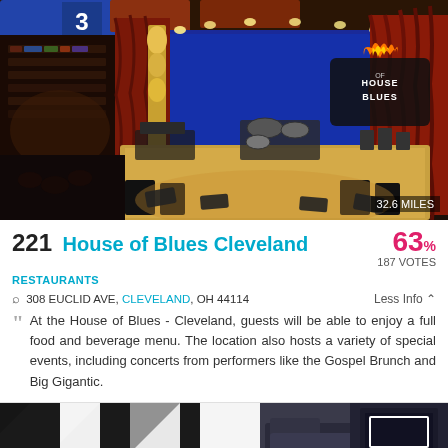[Figure (photo): Interior photo of House of Blues Cleveland music venue, showing the stage with red curtains, House of Blues logo sign, concert equipment/drum kit on stage, and venue seating area from elevated angle. Distance badge shows 32.6 MILES.]
221 House of Blues Cleveland
63% 187 VOTES
RESTAURANTS
308 EUCLID AVE, CLEVELAND, OH 44114   Less Info
At the House of Blues - Cleveland, guests will be able to enjoy a full food and beverage menu. The location also hosts a variety of special events, including concerts from performers like the Gospel Brunch and Big Gigantic.
[Figure (photo): Bottom partial photo of another venue, showing black and white geometric/stripe decor pattern.]